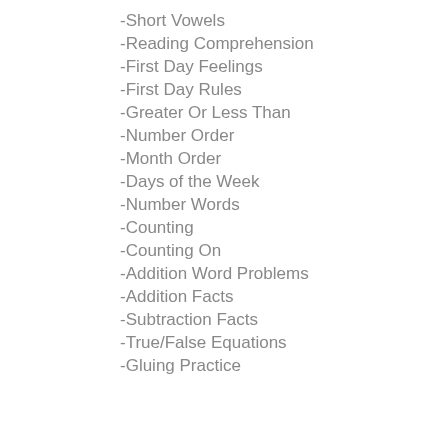-Short Vowels
-Reading Comprehension
-First Day Feelings
-First Day Rules
-Greater Or Less Than
-Number Order
-Month Order
-Days of the Week
-Number Words
-Counting
-Counting On
-Addition Word Problems
-Addition Facts
-Subtraction Facts
-True/False Equations
-Gluing Practice